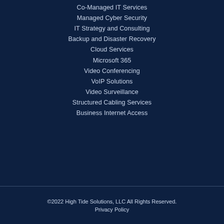Co-Managed IT Services
Managed Cyber Security
IT Strategy and Consulting
Backup and Disaster Recovery
Cloud Services
Microsoft 365
Video Conferencing
VoIP Solutions
Video Surveillance
Structured Cabling Services
Business Internet Access
©2022 High Tide Solutions, LLC All Rights Reserved.
Privacy Policy